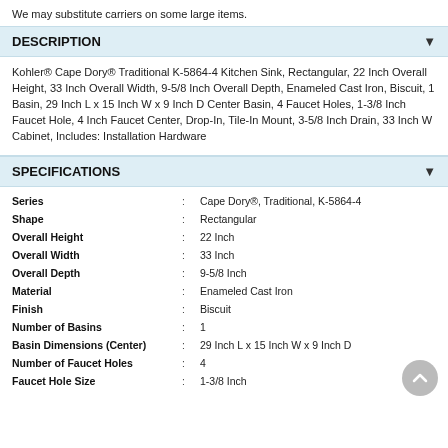We may substitute carriers on some large items.
DESCRIPTION
Kohler® Cape Dory® Traditional K-5864-4 Kitchen Sink, Rectangular, 22 Inch Overall Height, 33 Inch Overall Width, 9-5/8 Inch Overall Depth, Enameled Cast Iron, Biscuit, 1 Basin, 29 Inch L x 15 Inch W x 9 Inch D Center Basin, 4 Faucet Holes, 1-3/8 Inch Faucet Hole, 4 Inch Faucet Center, Drop-In, Tile-In Mount, 3-5/8 Inch Drain, 33 Inch W Cabinet, Includes: Installation Hardware
SPECIFICATIONS
| Attribute |  | Value |
| --- | --- | --- |
| Series | : | Cape Dory®, Traditional, K-5864-4 |
| Shape | : | Rectangular |
| Overall Height | : | 22 Inch |
| Overall Width | : | 33 Inch |
| Overall Depth | : | 9-5/8 Inch |
| Material | : | Enameled Cast Iron |
| Finish | : | Biscuit |
| Number of Basins | : | 1 |
| Basin Dimensions (Center) | : | 29 Inch L x 15 Inch W x 9 Inch D |
| Number of Faucet Holes | : | 4 |
| Faucet Hole Size | : | 1-3/8 Inch |